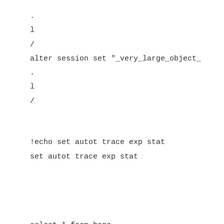.
l
/
alter session set "_very_large_object_
.
l
/

!echo set autot trace exp stat
set autot trace exp stat


select * from hoge

.
l
/